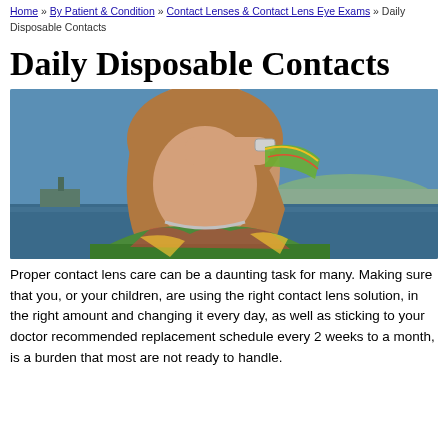Home » By Patient & Condition » Contact Lenses & Contact Lens Eye Exams » Daily Disposable Contacts
Daily Disposable Contacts
[Figure (photo): Young woman with long auburn hair wearing a colorful patterned top and silver bracelet, shielding her eyes with her hand, city waterfront in background]
Proper contact lens care can be a daunting task for many. Making sure that you, or your children, are using the right contact lens solution, in the right amount and changing it every day, as well as sticking to your doctor recommended replacement schedule every 2 weeks to a month, is a burden that most are not ready to handle.